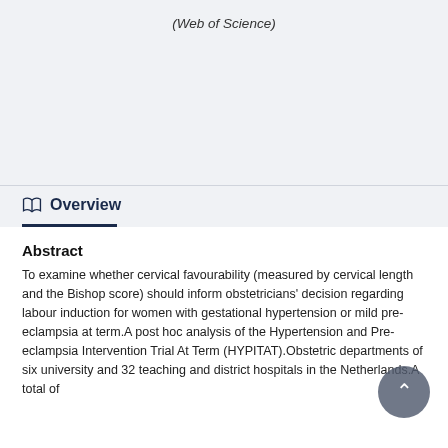(Web of Science)
Overview
Abstract
To examine whether cervical favourability (measured by cervical length and the Bishop score) should inform obstetricians' decision regarding labour induction for women with gestational hypertension or mild pre-eclampsia at term.A post hoc analysis of the Hypertension and Pre-eclampsia Intervention Trial At Term (HYPITAT).Obstetric departments of six university and 32 teaching and district hospitals in the Netherlands.A total of